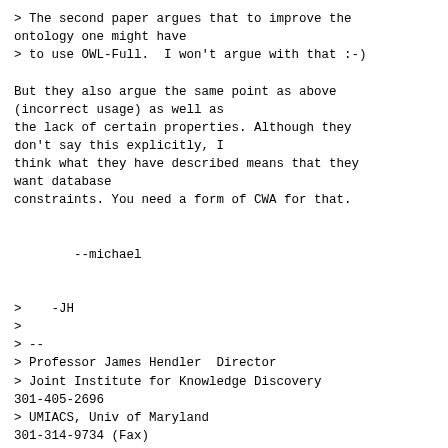> The second paper argues that to improve the ontology one might have
> to use OWL-Full.  I won't argue with that :-)

But they also argue the same point as above (incorrect usage) as well as
the lack of certain properties. Although they don't say this explicitly, I
think what they have described means that they want database
constraints. You need a form of CWA for that.


        --michael


>    -JH
>
> --
> Professor James Hendler  Director
> Joint Institute for Knowledge Discovery  301-405-2696
> UMIACS, Univ of Maryland  301-314-9734 (Fax)
> College Park, MD 20742
http://www.cs.umd.edu/users/hendler
>